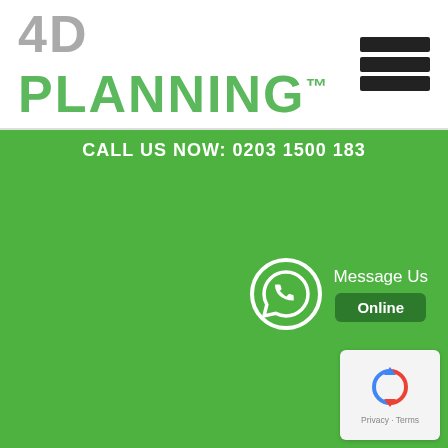[Figure (logo): 4D PLANNING logo with trademark symbol in green on white header, with hamburger menu icon on the right]
CALL US NOW: 0203 1500 183
[Figure (other): WhatsApp icon (white phone in speech bubble outline on green background) with Message Us Online button]
[Figure (other): reCAPTCHA badge with blue arrow icon and Privacy - Terms text]